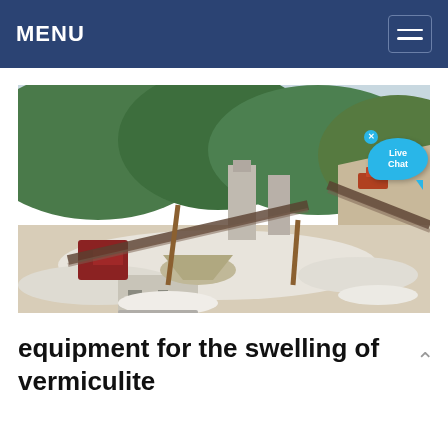MENU
[Figure (photo): Outdoor quarry/mining operation scene with industrial crushing and conveying equipment, white/grey crushed stone areas, red machinery, conveyor belts, and forested hills in the background. A 'Live Chat' bubble overlay appears in the upper right of the image.]
equipment for the swelling of vermiculite